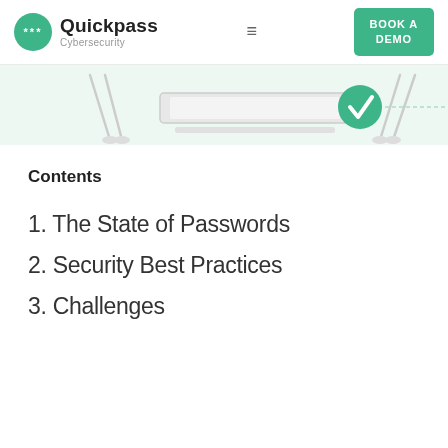Quickpass Cybersecurity — BOOK A DEMO
[Figure (illustration): Hero banner illustration showing golf clubs and a laptop with a green checkmark circle on a light teal background]
Contents
1. The State of Passwords
2. Security Best Practices
3. Challenges